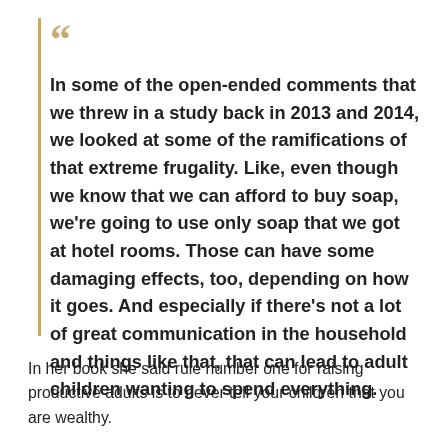In some of the open-ended comments that we threw in a study back in 2013 and 2014, we looked at some of the ramifications of that extreme frugality. Like, even though we know that we can afford to buy soap, we're going to use only soap that we got at hotel rooms. Those can have some damaging effects, too, depending on how it goes. And especially if there's not a lot of great communication in the household and things like that, that can lead to adult children wanting to spend everything.
In her book she said rule number one for raising productive adults is to never tell your children that you are wealthy.